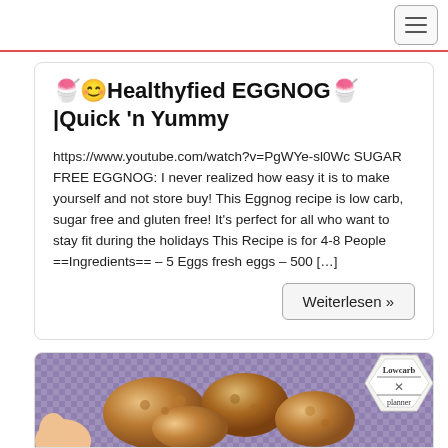[navigation hamburger menu button]
🍧😊Healthyfied EGGNOG🍧|Quick 'n Yummy
https://www.youtube.com/watch?v=PgWYe-sl0Wc SUGAR FREE EGGNOG: I never realized how easy it is to make yourself and not store buy! This Eggnog recipe is low carb, sugar free and gluten free! It's perfect for all who want to stay fit during the holidays This Recipe is for 4-8 People ==Ingredients== – 5 Eggs fresh eggs – 500 […]
Weiterlesen »
[Figure (photo): Photo of fried chicken pieces on a plate/surface with a Lowcarb Planner logo badge in the top right corner. A finger or hand is partially visible at the lower left.]